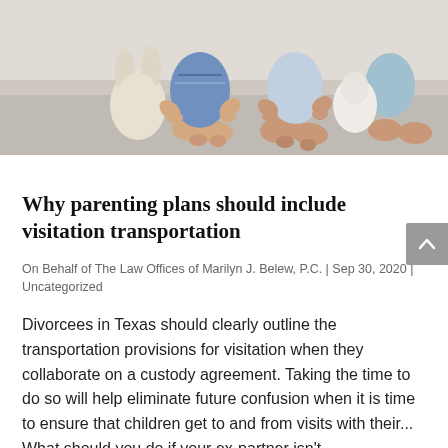[Figure (photo): Two young children sitting on the floor with a stuffed animal toy]
Why parenting plans should include visitation transportation
On Behalf of The Law Offices of Marilyn J. Belew, P.C. | Sep 30, 2020 | Uncategorized
Divorcees in Texas should clearly outline the transportation provisions for visitation when they collaborate on a custody agreement. Taking the time to do so will help eliminate future confusion when it is time to ensure that children get to and from visits with their...
What should you do if your ex-partner isn't